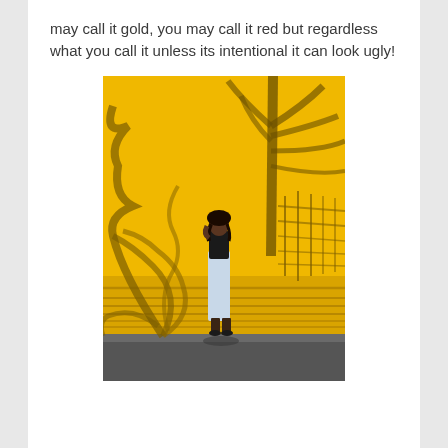may call it gold, you may call it red but regardless what you call it unless its intentional it can look ugly!
[Figure (photo): A woman in a black top and light-colored long skirt stands leaning against a bright yellow wall. Large shadows of palm tree fronds and a fence are cast dramatically across the yellow wall behind her. The ground in the foreground is dark pavement.]